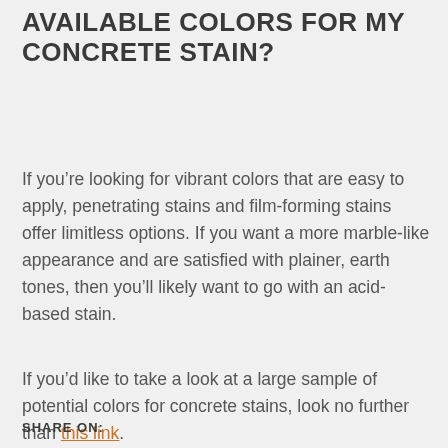AVAILABLE COLORS FOR MY CONCRETE STAIN?
If you’re looking for vibrant colors that are easy to apply, penetrating stains and film-forming stains offer limitless options. If you want a more marble-like appearance and are satisfied with plainer, earth tones, then you’ll likely want to go with an acid-based stain.
If you’d like to take a look at a large sample of potential colors for concrete stains, look no further than this link.
SHARE ON: